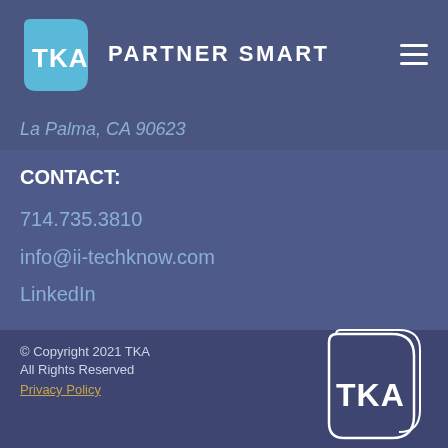TKA PARTNER SMART
La Palma, CA 90623
CONTACT:
714.735.3810
info@ii-techknow.com
LinkedIn
© Copyright 2021 TKA
All Rights Reserved
Privacy Policy
[Figure (logo): TKA logo outline white on dark blue background, bottom right of footer]